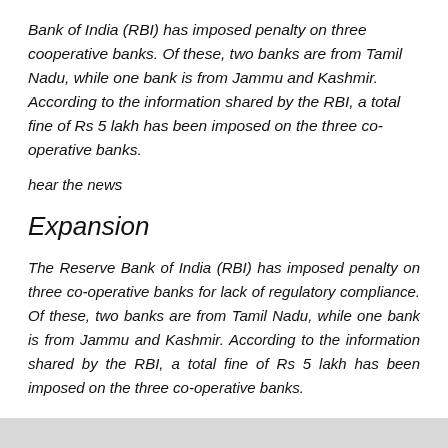Bank of India (RBI) has imposed penalty on three cooperative banks. Of these, two banks are from Tamil Nadu, while one bank is from Jammu and Kashmir. According to the information shared by the RBI, a total fine of Rs 5 lakh has been imposed on the three co-operative banks.
hear the news
Expansion
The Reserve Bank of India (RBI) has imposed penalty on three co-operative banks for lack of regulatory compliance. Of these, two banks are from Tamil Nadu, while one bank is from Jammu and Kashmir. According to the information shared by the RBI, a total fine of Rs 5 lakh has been imposed on the three co-operative banks.